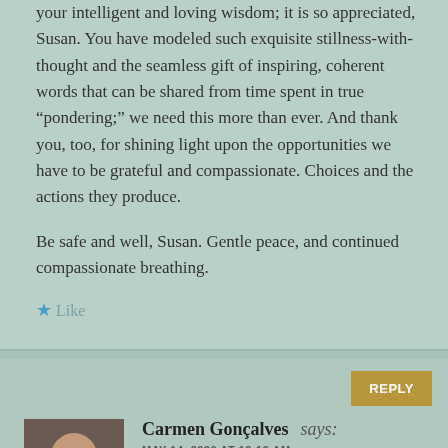your intelligent and loving wisdom; it is so appreciated, Susan. You have modeled such exquisite stillness-with-thought and the seamless gift of inspiring, coherent words that can be shared from time spent in true “pondering;” we need this more than ever. And thank you, too, for shining light upon the opportunities we have to be grateful and compassionate. Choices and the actions they produce.
Be safe and well, Susan. Gentle peace, and continued compassionate breathing.
★ Like
Carmen Gonçalves says:
MAY 14, 2020 AT 10:19 AM
Hi Kitty! Here we are again... sharing in brazilian portuguese, a translation of your amazing